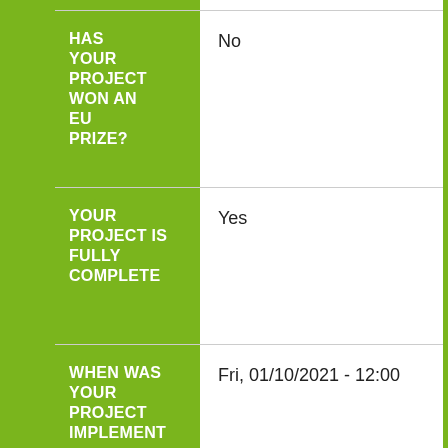| Field | Value |
| --- | --- |
| HAS YOUR PROJECT WON AN EU PRIZE? | No |
| YOUR PROJECT IS FULLY COMPLETED | Yes |
| WHEN WAS YOUR PROJECT IMPLEMENT... | Fri, 01/10/2021 - 12:00 |